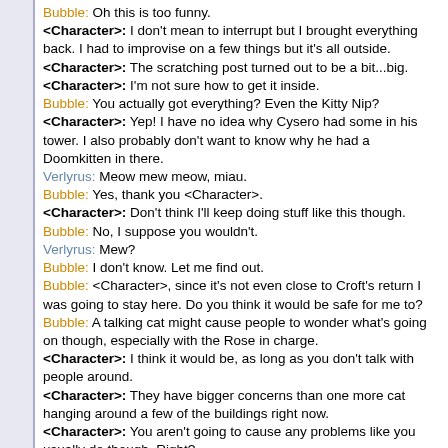Bubble: Oh this is too funny.
<Character>: I don't mean to interrupt but I brought everything back. I had to improvise on a few things but it's all outside.
<Character>: The scratching post turned out to be a bit...big.
<Character>: I'm not sure how to get it inside.
Bubble: You actually got everything? Even the Kitty Nip?
<Character>: Yep! I have no idea why Cysero had some in his tower. I also probably don't want to know why he had a Doomkitten in there.
Verlyrus: Meow mew meow, miau.
Bubble: Yes, thank you <Character>.
<Character>: Don't think I'll keep doing stuff like this though.
Bubble: No, I suppose you wouldn't.
Verlyrus: Mew?
Bubble: I don't know. Let me find out.
Bubble: <Character>, since it's not even close to Croft's return I was going to stay here. Do you think it would be safe for me to?
Bubble: A talking cat might cause people to wonder what's going on though, especially with the Rose in charge.
<Character>: I think it would be, as long as you don't talk with people around.
<Character>: They have bigger concerns than one more cat hanging around a few of the buildings right now.
<Character>: You aren't going to cause any problems like you usually do though. Right?
Bubble: I promise I won't cause any issues.
<Character>: Verlyrus here will just have to make sure you follow through on that.
Verlyrus: Meow! Meow miau!
<Character>: I'll take that as a yes. I need to head back to Big Daddy and let him know how things went here.
Bubble: I think I'll go for a walk. I want to see a bit more of the town.